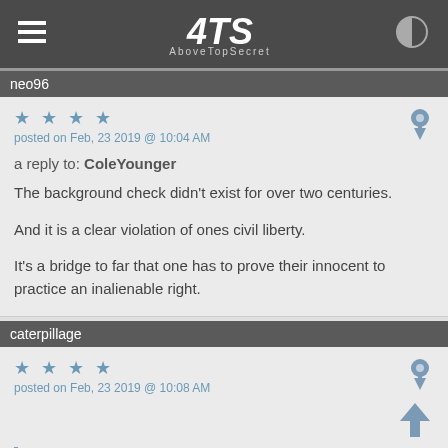ATS AboveTopSecret
neo96
posted on Feb, 23 2019 @ 10:04 AM
a reply to: ColeYounger
The background check didn't exist for over two centuries.

And it is a clear violation of ones civil liberty.

It's a bridge to far that one has to prove their innocent to practice an inalienable right.
caterpillage
posted on Feb, 23 2019 @ 10:08 AM